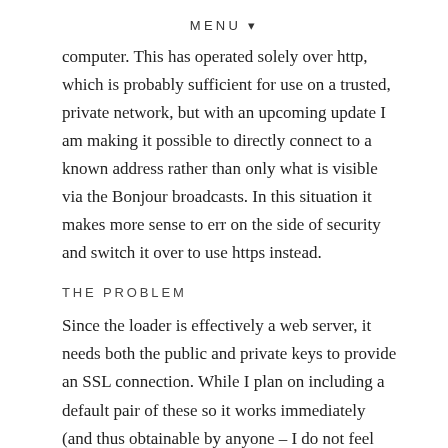MENU ▾
computer. This has operated solely over http, which is probably sufficient for use on a trusted, private network, but with an upcoming update I am making it possible to directly connect to a known address rather than only what is visible via the Bonjour broadcasts. In this situation it makes more sense to err on the side of security and switch it over to use https instead.
THE PROBLEM
Since the loader is effectively a web server, it needs both the public and private keys to provide an SSL connection. While I plan on including a default pair of these so it works immediately (and thus obtainable by anyone – I do not feel security with this is important enough to require the extra step in forcing users to use their own keys), I also want to make it possible for users who do need or want the security